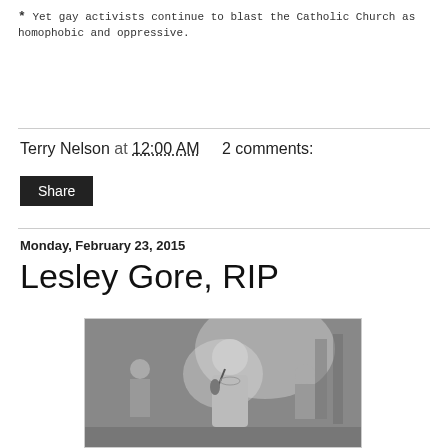* Yet gay activists continue to blast the Catholic Church as homophobic and oppressive.
Terry Nelson at 12:00 AM    2 comments:
Share
Monday, February 23, 2015
Lesley Gore, RIP
[Figure (photo): Black and white photograph of a young woman singing into a microphone on a stage, wearing a sleeveless dress with a beaded necklace, with other people visible in the background.]